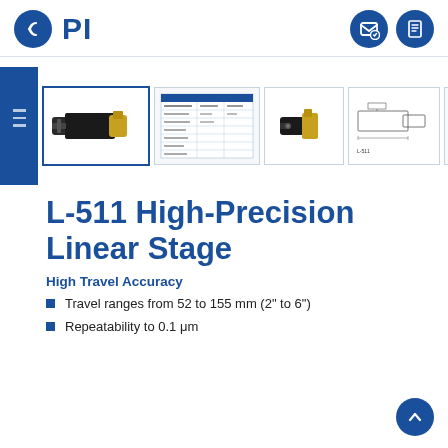PI — L-511 High-Precision Linear Stage product page header with navigation icons
[Figure (screenshot): Thumbnail strip showing product images: selected photo of L-511 linear stage (black and gold), specifications table thumbnail, front-view photo, engineering drawing side view, and partial fifth thumbnail]
L-511 High-Precision Linear Stage
High Travel Accuracy
Travel ranges from 52 to 155 mm (2" to 6")
Repeatability to 0.1 μm